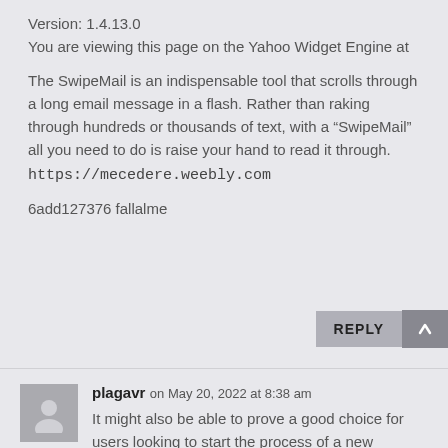Version: 1.4.13.0
You are viewing this page on the Yahoo Widget Engine at
The SwipeMail is an indispensable tool that scrolls through a long email message in a flash. Rather than raking through hundreds or thousands of text, with a “SwipeMail” all you need to do is raise your hand to read it through. https://mecedere.weebly.com
6add127376 fallalme
REPLY
plagavr on May 20, 2022 at 8:38 am
It might also be able to prove a good choice for users looking to start the process of a new